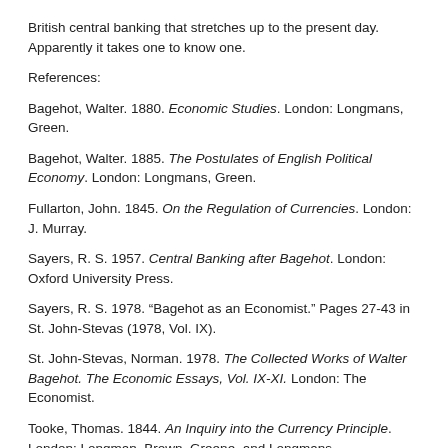British central banking that stretches up to the present day. Apparently it takes one to know one.
References:
Bagehot, Walter. 1880. Economic Studies. London: Longmans, Green.
Bagehot, Walter. 1885. The Postulates of English Political Economy. London: Longmans, Green.
Fullarton, John. 1845. On the Regulation of Currencies. London: J. Murray.
Sayers, R. S. 1957. Central Banking after Bagehot. London: Oxford University Press.
Sayers, R. S. 1978. “Bagehot as an Economist.” Pages 27-43 in St. John-Stevas (1978, Vol. IX).
St. John-Stevas, Norman. 1978. The Collected Works of Walter Bagehot. The Economic Essays, Vol. IX-XI. London: The Economist.
Tooke, Thomas. 1844. An Inquiry into the Currency Principle. London: Longman, Brown, Greene, and Longmans.
Perry Mehrling’s MOOC on Coursera tries to do for the twenty-first